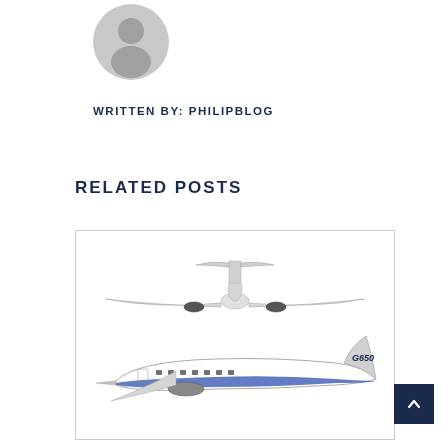[Figure (illustration): Gray circular avatar/profile placeholder icon showing a silhouette of a person]
WRITTEN BY: PHILIPBLOG
RELATED POSTS
[Figure (photo): Gulfstream G650 private jet shown from front view (top) and side profile view (bottom), white aircraft with dark blue accents and G650 branding on tail]